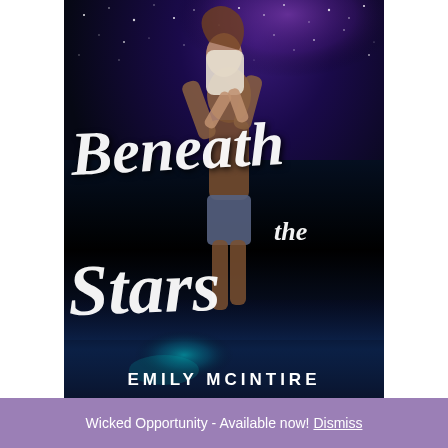[Figure (illustration): Book cover for 'Beneath the Stars' by Emily McIntire. Features a romantic couple embracing against a starry night sky background with water reflection below. The man is shirtless holding a woman. White script text overlays the image with the title and author name.]
Wicked Opportunity - Available now! Dismiss